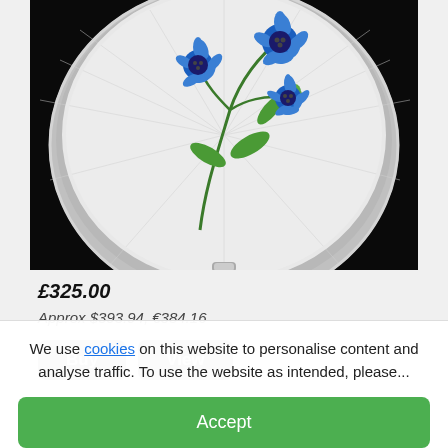[Figure (photo): A round silver compact mirror with white enamel interior decorated with blue cornflowers and green stems/leaves, photographed against a black background.]
£325.00
Approx $393.94, €384.16
We use cookies on this website to personalise content and analyse traffic. To use the website as intended, please...
Accept